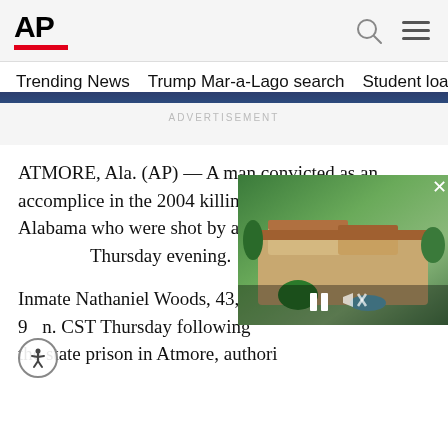AP
Trending News   Trump Mar-a-Lago search   Student loans   U.S.
ADVERTISEMENT
ATMORE, Ala. (AP) — A man convicted as an accomplice in the 2004 killings of [people] in Alabama who were shot by anot[her man] Thursday evening.
Inmate Nathaniel Woods, 43, was p[ronounced dead at] 9[:]n. CST Thursday following [his execution at] the state prison in Atmore, authori[ties said.]